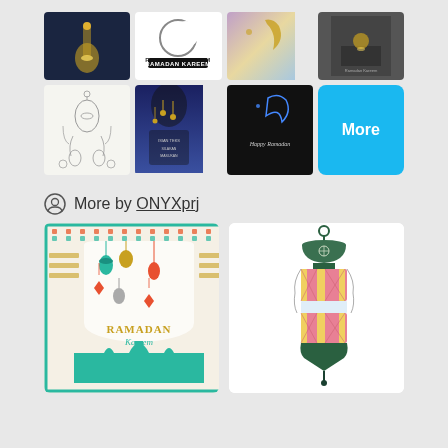[Figure (illustration): Grid of 8 thumbnail images: Ramadan/Islamic themed illustrations including dark lantern design, Ramadan Kareem moon text, gradient crescent, candle photo, Islamic sketch elements, blue ornate invitation, dark Happy Ramadan crescent, and a cyan 'More' button]
More by ONYXprj
[Figure (illustration): Ramadan Kareem card with colorful hanging lanterns, teal mosque silhouette, ornate border pattern]
[Figure (illustration): Single decorative Ramadan lantern illustration with teal dome, pink and yellow panels, on white background]